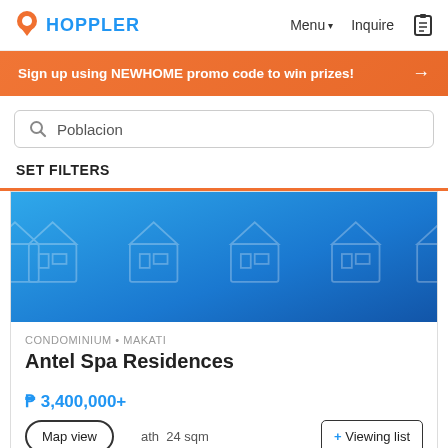HOPPLER   Menu ▾   Inquire
Sign up using NEWHOME promo code to win prizes! →
Poblacion
SET FILTERS
[Figure (screenshot): Blue banner with house/building icons pattern]
CONDOMINIUM • MAKATI
Antel Spa Residences
₱ 3,400,000+
ath  24 sqm
Map view
+ Viewing list